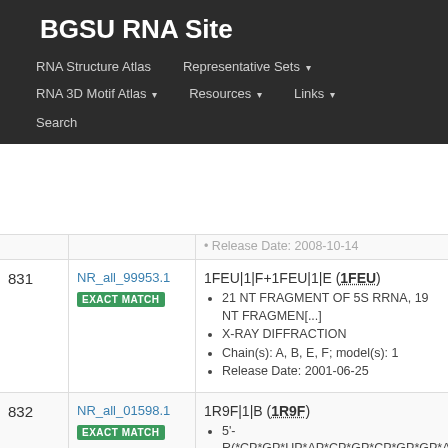BGSU RNA Site
RNA Structure Atlas | Representative Sets ▾ | RNA 3D Motif Atlas ▾ | Resources ▾ | Links ▾ | Search
| # | ID | Info |
| --- | --- | --- |
| 831 | NR_all_99953.1 EXACT MATCH | 1FEU|1|F+1FEU|1|E (1FEU)
• 21 NT FRAGMENT OF 5S RRNA, 19 NT FRAGMEN[...]
• X-RAY DIFFRACTION
• Chain(s): A, B, E, F; model(s): 1
• Release Date: 2001-06-25 |
| 832 | NR_all_01598.1 EXACT MATCH | 1R9F|1|B (1R9F)
• 5'-R(*CP*GP*UP*AP*CP*GP*CP*GP*GP*A
• X-RAY DIFFRACTION
• Chain(s): B; model(s): 1
• Release Date: 2004-01-27 |